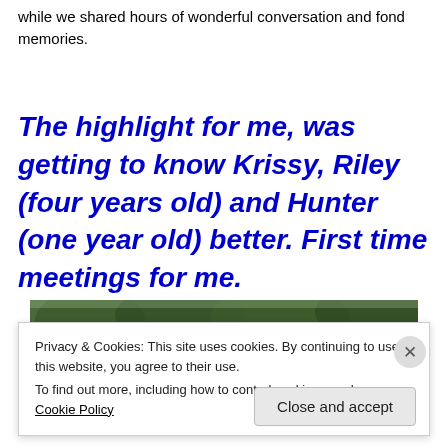while we shared hours of wonderful conversation and fond memories.
The highlight for me, was getting to know Krissy, Riley (four years old) and Hunter (one year old) better. First time meetings for me.
[Figure (photo): Outdoor photo showing trees against sky, partially obscured by cookie consent overlay]
Privacy & Cookies: This site uses cookies. By continuing to use this website, you agree to their use.
To find out more, including how to control cookies, see here: Cookie Policy
Close and accept